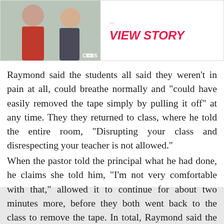[Figure (photo): Two people in a TV show promotional image with CBS logo, alongside a 'VIEW STORY' link in pink italic bold text]
Raymond said the students all said they weren't in pain at all, could breathe normally and "could have easily removed the tape simply by pulling it off" at any time. They they returned to class, where he told the entire room, "Disrupting your class and disrespecting your teacher is not allowed."
When the pastor told the principal what he had done, he claims she told him, "I'm not very comfortable with that," allowed it to continue for about two minutes more, before they both went back to the class to remove the tape. In total, Raymond said the tape "could not have been applied for more than eight to ten minutes."